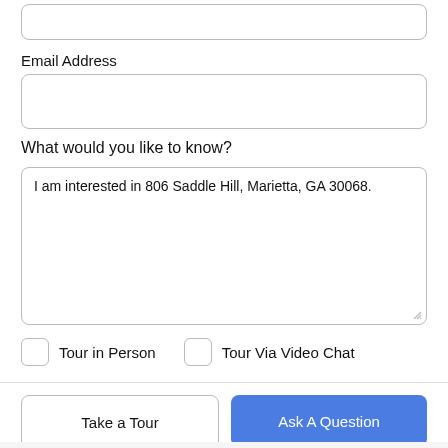[Figure (screenshot): Top input field (partial, cropped at top)]
Email Address
[Figure (screenshot): Email Address input field (empty)]
What would you like to know?
[Figure (screenshot): Text area with content: I am interested in 806 Saddle Hill, Marietta, GA 30068.]
Tour in Person
Tour Via Video Chat
Take a Tour
Ask A Question